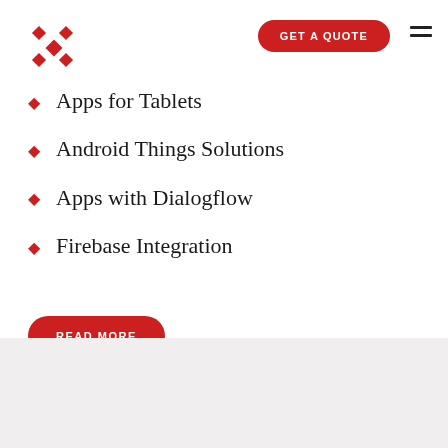[Figure (logo): Red snowflake/diamond cluster logo in top left]
GET A QUOTE
Apps for Tablets
Android Things Solutions
Apps with Dialogflow
Firebase Integration
READ MORE